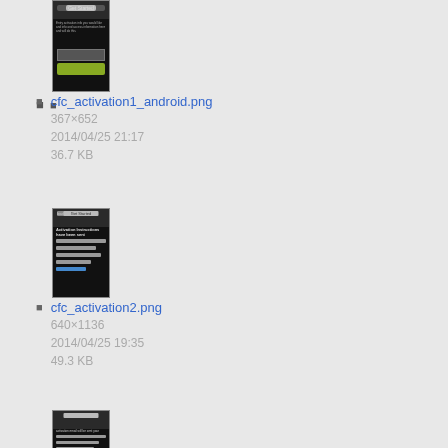[Figure (screenshot): Mobile app screenshot thumbnail showing dark background with input field and yellow-green button (cfc_activation1_android.png)]
cfc_activation1_android.png
367×652
2014/04/25 21:17
36.7 KB
[Figure (screenshot): Mobile app screenshot thumbnail showing dark background with text content and blue link (cfc_activation2.png)]
cfc_activation2.png
640×1136
2014/04/25 19:35
49.3 KB
[Figure (screenshot): Mobile app screenshot thumbnail showing dark background with text and blue link (third image, partially visible)]